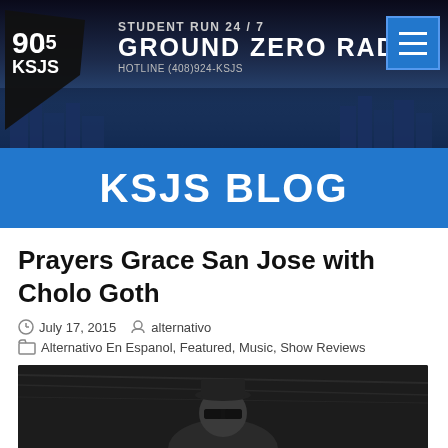[Figure (photo): 90.5 KSJS radio station banner with city skyline background showing 'Student Run 24/7 Ground Zero Radio, Hotline (408)924-KSJS' and a hamburger menu button]
KSJS BLOG
Prayers Grace San Jose with Cholo Goth
July 17, 2015   alternativo
Alternativo En Espanol, Featured, Music, Show Reviews
[Figure (photo): Black and white photo of a performer wearing sunglasses and a hat]